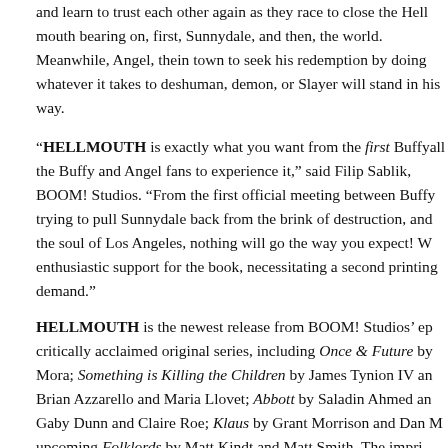and learn to trust each other again as they race to close the Hellmouth bearing down on, first, Sunnydale, and then, the world. Meanwhile, Angel, the vampire with a soul, is in town to seek his redemption by doing whatever it takes to destroy it — whether human, demon, or Slayer will stand in his way.
"HELLMOUTH is exactly what you want from the first Buffy/Angel crossover, and I want all the Buffy and Angel fans to experience it," said Filip Sablik, President & Publisher of BOOM! Studios. "From the first official meeting between Buffy and Angel, to the team trying to pull Sunnydale back from the brink of destruction, and Angel's race to protect the soul of Los Angeles, nothing will go the way you expect! We've seen overwhelming enthusiastic support for the book, necessitating a second printing to keep up with demand."
HELLMOUTH is the newest release from BOOM! Studios' eponymous imprint, home to critically acclaimed original series, including Once & Future by Kieron Gillen and Dan Mora; Something is Killing the Children by James Tynion IV and Werther Dell'Edera; Folklords by Brian Azzarello and Maria Llovet; Abbott by Saladin Ahmed and Sami Kivelä; Byfrost by Gaby Dunn and Claire Roe; Klaus by Grant Morrison and Dan M upcoming Folklords by Matt Kindt and Matt Smith. The impri